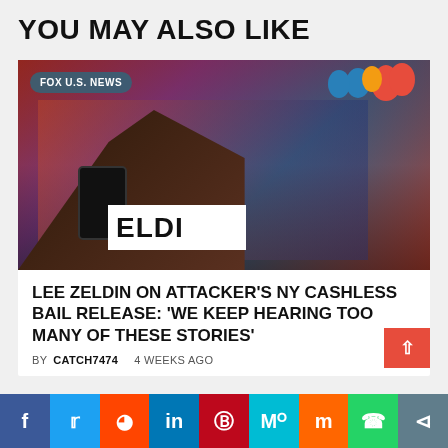YOU MAY ALSO LIKE
[Figure (photo): Photo of Lee Zeldin at a campaign event, raising hand high-five with supporters, with red, white and blue balloons in background. Badge reads FOX U.S. NEWS.]
LEE ZELDIN ON ATTACKER'S NY CASHLESS BAIL RELEASE: 'WE KEEP HEARING TOO MANY OF THESE STORIES'
BY CATCH7474   4 WEEKS AGO
f  Twitter  Reddit  in  Pinterest  MeWe  Mix  WhatsApp  Share